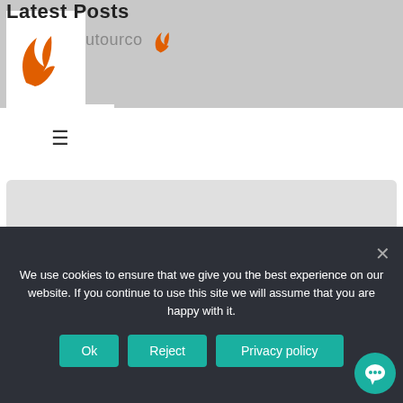Latest Posts
[Figure (logo): Outourco logo: orange flame/leaf graphic with text 'outourco' and decorative flame on the right]
Mauritius – Our unusual fruits: Wax or Java Apple & Ambarella
We use cookies to ensure that we give you the best experience on our website. If you continue to use this site we will assume that you are happy with it.
Ok   Reject   Privacy policy